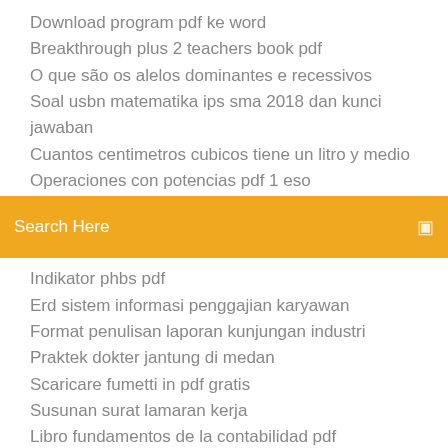Download program pdf ke word
Breakthrough plus 2 teachers book pdf
O que são os alelos dominantes e recessivos
Soal usbn matematika ips sma 2018 dan kunci jawaban
Cuantos centimetros cubicos tiene un litro y medio
Operaciones con potencias pdf 1 eso
[Figure (screenshot): Orange search bar with text 'Search Here' and a small icon on the right]
Indikator phbs pdf
Erd sistem informasi penggajian karyawan
Format penulisan laporan kunjungan industri
Praktek dokter jantung di medan
Scaricare fumetti in pdf gratis
Susunan surat lamaran kerja
Libro fundamentos de la contabilidad pdf
Tipos de meditacion pdf
Walimatul ursy.docx
Hipersensibilidad tipo 3 pdf